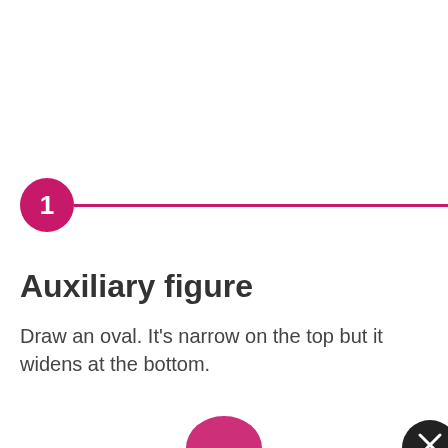1
Auxiliary figure
Draw an oval. It's narrow on the top but it widens at the bottom.